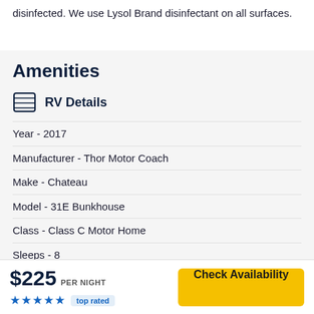disinfected. We use Lysol Brand disinfectant on all surfaces.
Amenities
RV Details
Year - 2017
Manufacturer - Thor Motor Coach
Make - Chateau
Model - 31E Bunkhouse
Class - Class C Motor Home
Sleeps - 8
$225 PER NIGHT ★★★★★ top rated
Check Availability